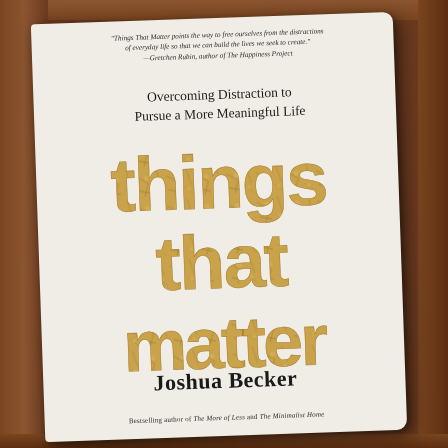[Figure (photo): Photo of the book 'Things That Matter' by Joshua Becker, placed on a wooden surface. The book cover is cream/white with large golden-tan crackled lettering reading 'things that matter'. Subtitle reads 'Overcoming Distraction to Pursue a More Meaningful Life'. There is a blurb at the top from Gretchen Rubin, author of The Happiness Project. Author name 'Joshua Becker' appears near the bottom in dark serif font. Below author name: 'Bestselling author of The More of Less and The Minimalist Home'.]